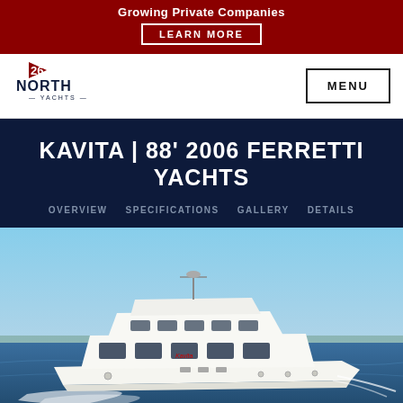Growing Private Companies LEARN MORE
[Figure (logo): 26 North Yachts logo with flag]
KAVITA | 88' 2006 FERRETTI YACHTS
OVERVIEW
SPECIFICATIONS
GALLERY
DETAILS
[Figure (photo): White Ferretti yacht named Kavita cruising on blue water, side profile view]